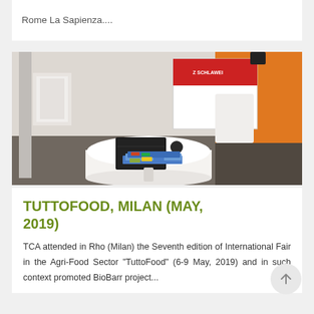Rome La Sapienza....
[Figure (photo): Trade fair booth photo showing a round white table with a laptop, a small device, and stacks of colorful brochures/materials on it. In the background there is a red and white branded display stand (Schlawei or similar) and an orange wall.]
TUTTOFOOD, MILAN (MAY, 2019)
TCA attended in Rho (Milan) the Seventh edition of International Fair in the Agri-Food Sector “TuttoFood” (6-9 May, 2019) and in such context promoted BioBarr project...